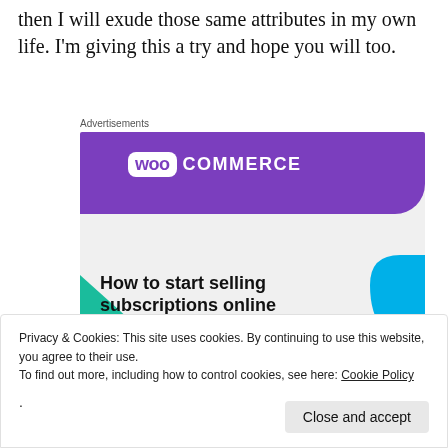then I will exude those same attributes in my own life. I'm giving this a try and hope you will too.
[Figure (screenshot): WooCommerce advertisement banner: purple header with WooCommerce logo, green triangle lower-left, blue arc lower-right, bold text reading 'How to start selling subscriptions online']
Privacy & Cookies: This site uses cookies. By continuing to use this website, you agree to their use. To find out more, including how to control cookies, see here: Cookie Policy